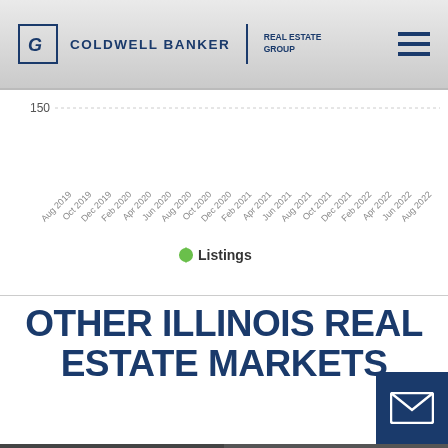COLDWELL BANKER REAL ESTATE GROUP
[Figure (line-chart): ]
OTHER ILLINOIS REAL ESTATE MARKETS